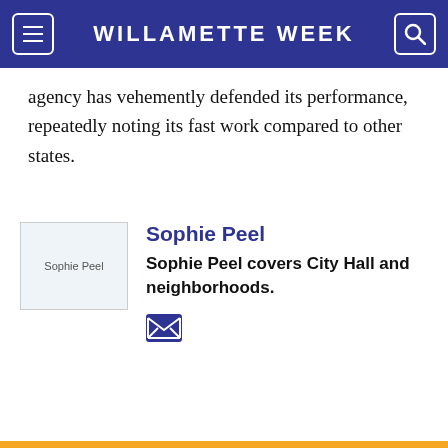WILLAMETTE WEEK
agency has vehemently defended its performance, repeatedly noting its fast work compared to other states.
[Figure (photo): Thumbnail photo of Sophie Peel, shown as broken image placeholder labeled 'Sophie Peel']
Sophie Peel
Sophie Peel covers City Hall and neighborhoods.